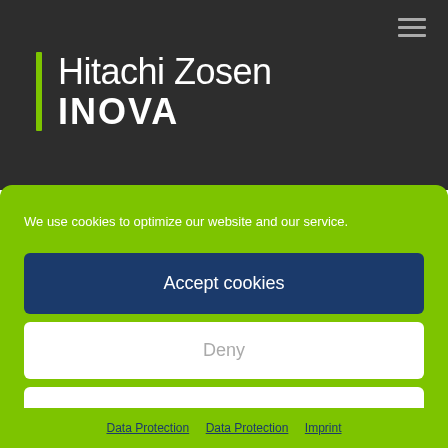[Figure (logo): Hitachi Zosen INOVA logo with green vertical bar on dark background, and hamburger menu icon top right]
We use cookies to optimize our website and our service.
Accept cookies
Deny
View preferences
Data Protection  Data Protection  Imprint